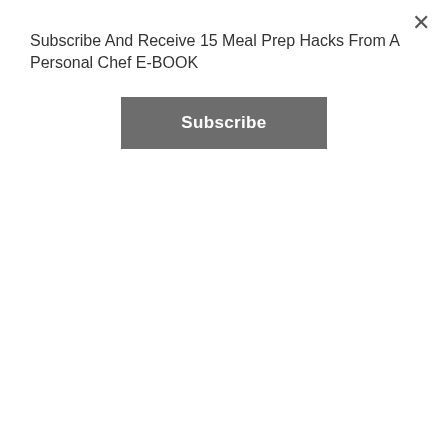Subscribe And Receive 15 Meal Prep Hacks From A Personal Chef E-BOOK
[Figure (other): Subscribe button — dark grey rectangular button with white bold text reading 'Subscribe']
[Figure (logo): Partially visible website logo in dark navy italic/script font reading 'Hamburger Skillet.' with decorative styling]
Paleo Hamburger Skillet with Thousand Island Dressing